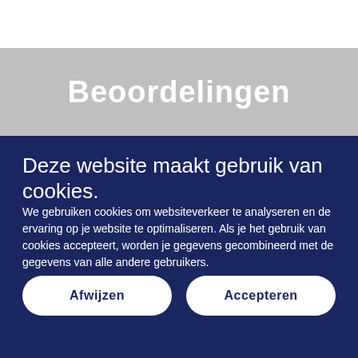Beoordelingen
Deze website maakt gebruik van cookies.
We gebruiken cookies om websiteverkeer te analyseren en de ervaring op je website te optimaliseren. Als je het gebruik van cookies accepteert, worden je gegevens gecombineerd met de gegevens van alle andere gebruikers.
Afwijzen
Accepteren